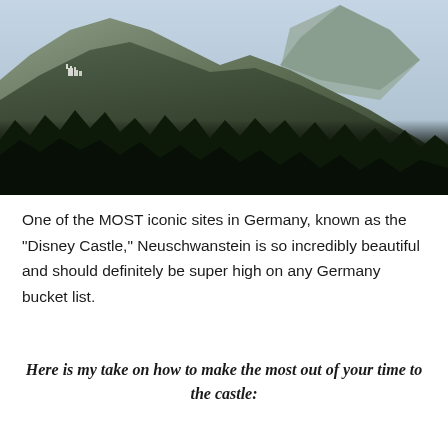[Figure (photo): Landscape photo showing Neuschwanstein Castle (the Disney Castle) nestled in the mountains of Germany, with dense dark forest in the foreground, rocky mountain peaks in the background, and a light blue sky. The castle is visible as a small white structure on the left side of the image.]
One of the MOST iconic sites in Germany, known as the "Disney Castle," Neuschwanstein is so incredibly beautiful and should definitely be super high on any Germany bucket list.
Here is my take on how to make the most out of your time to the castle: